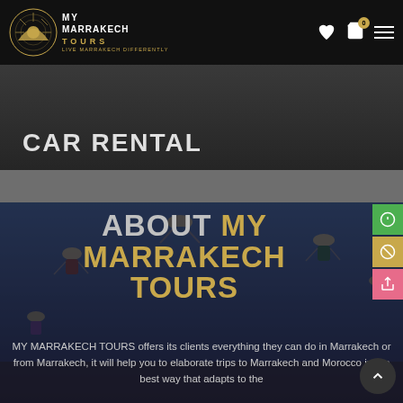MY MARRAKECH TOURS — Live Marrakech Differently
CAR RENTAL
ABOUT MY MARRAKECH TOURS
MY MARRAKECH TOURS offers its clients everything they can do in Marrakech or from Marrakech, it will help you to elaborate trips to Marrakech and Morocco in the best way that adapts to the